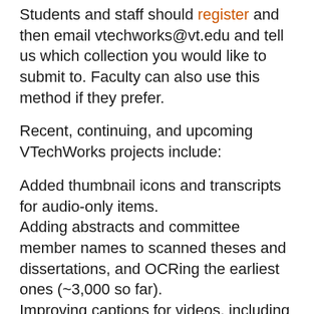Students and staff should register and then email vtechworks@vt.edu and tell us which collection you would like to submit to. Faculty can also use this method if they prefer.
Recent, continuing, and upcoming VTechWorks projects include:
Added thumbnail icons and transcripts for audio-only items.
Adding abstracts and committee member names to scanned theses and dissertations, and OCRing the earliest ones (~3,000 so far).
Improving captions for videos, including through a new relationship with a captioning service.